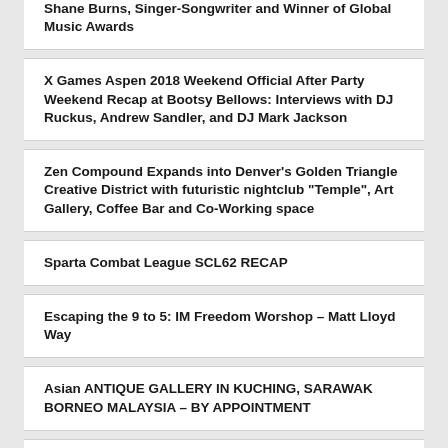Shane Burns, Singer-Songwriter and Winner of Global Music Awards
X Games Aspen 2018 Weekend Official After Party Weekend Recap at Bootsy Bellows: Interviews with DJ Ruckus, Andrew Sandler, and DJ Mark Jackson
Zen Compound Expands into Denver's Golden Triangle Creative District with futuristic nightclub "Temple", Art Gallery, Coffee Bar and Co-Working space
Sparta Combat League SCL62 RECAP
Escaping the 9 to 5: IM Freedom Worshop – Matt Lloyd Way
Asian ANTIQUE GALLERY IN KUCHING, SARAWAK BORNEO MALAYSIA – BY APPOINTMENT
Regulatory Reporting for Hedge Funds – An Expert